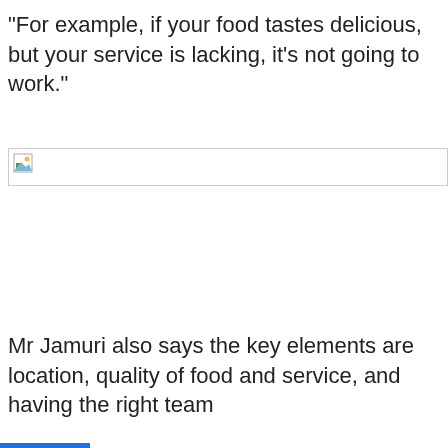"For example, if your food tastes delicious, but your service is lacking, it's not going to work."
[Figure (photo): Broken/unloaded image placeholder with border]
Mr Jamuri also says the key elements are location, quality of food and service, and having the right team